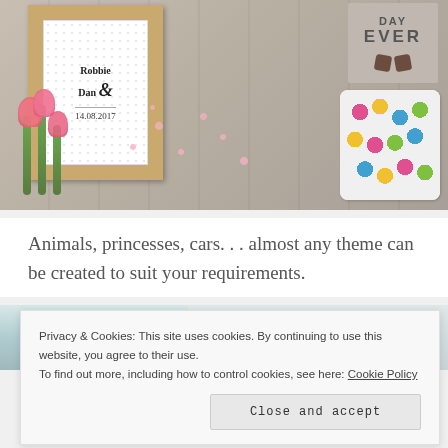[Figure (photo): Photo of wedding stationery items on a grey linen background: a kraft paper frame holding a white embossed card with 'Robbie Dan & 14.08.2017', pink tulips, scattered small pink heart confetti, a grey tag, and a colorful floral-patterned coaster]
Animals, princesses, cars. . . almost any theme can be created to suit your requirements.
[Figure (photo): Partial photo showing a blue glass jar and white surface, partially obscured by cookie banner]
Privacy & Cookies: This site uses cookies. By continuing to use this website, you agree to their use.
To find out more, including how to control cookies, see here: Cookie Policy
Close and accept